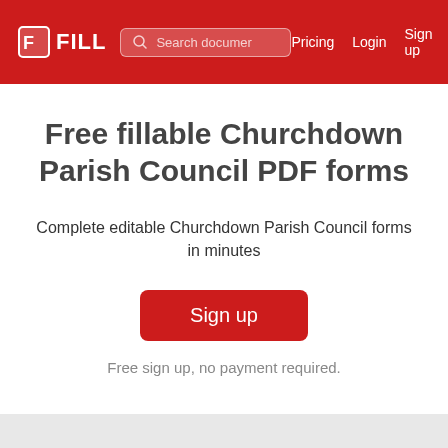FILL | Search documer | Pricing | Login | Sign up
Free fillable Churchdown Parish Council PDF forms
Complete editable Churchdown Parish Council forms in minutes
Sign up
Free sign up, no payment required.